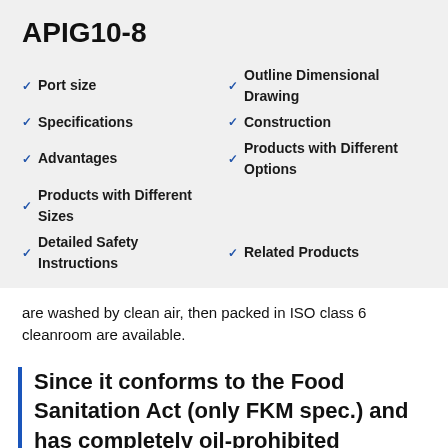APIG10-8
Port size
Outline Dimensional Drawing
Specifications
Construction
Advantages
Products with Different Options
Products with Different Sizes
Detailed Safety Instructions
Related Products
are washed by clean air, then packed in ISO class 6 cleanroom are available.
Since it conforms to the Food Sanitation Act (only FKM spec.) and has completely oil-prohibited specifications, it is best suitable